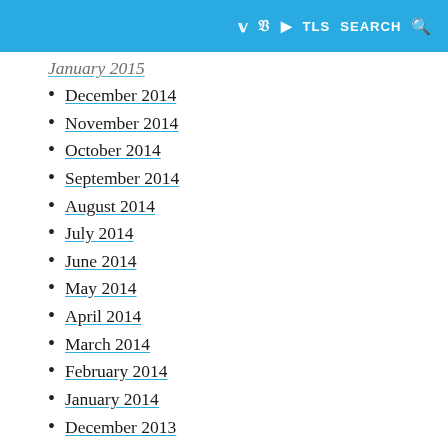Twitter  Facebook  YouTube  TLS  SEARCH
January 2015 (partial)
December 2014
November 2014
October 2014
September 2014
August 2014
July 2014
June 2014
May 2014
April 2014
March 2014
February 2014
January 2014
December 2013
November 2013
October 2013
September 2013